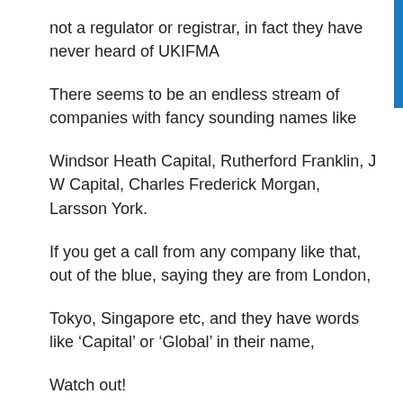not a regulator or registrar, in fact they have never heard of UKIFMA
There seems to be an endless stream of companies with fancy sounding names like
Windsor Heath Capital, Rutherford Franklin, J W Capital, Charles Frederick Morgan, Larsson York.
If you get a call from any company like that, out of the blue, saying they are from London,
Tokyo, Singapore etc, and they have words like ‘Capital’ or ‘Global’ in their name,
Watch out!
This entry was posted in Uncategorized and tagged global capital markets on March 29, 2018.